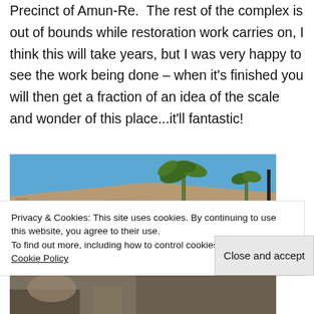Precinct of Amun-Re.  The rest of the complex is out of bounds while restoration work carries on, I think this will take years, but I was very happy to see the work being done – when it's finished you will then get a fraction of an idea of the scale and wonder of this place...it'll fantastic!
[Figure (photo): Photo of an ancient Egyptian stone pylon/wall with hieroglyphics, a palm tree visible above, and a clear blue sky. The top of the wall is angled/sloped. Part of Karnak temple complex.]
Privacy & Cookies: This site uses cookies. By continuing to use this website, you agree to their use.
To find out more, including how to control cookies, see here:
Cookie Policy
Close and accept